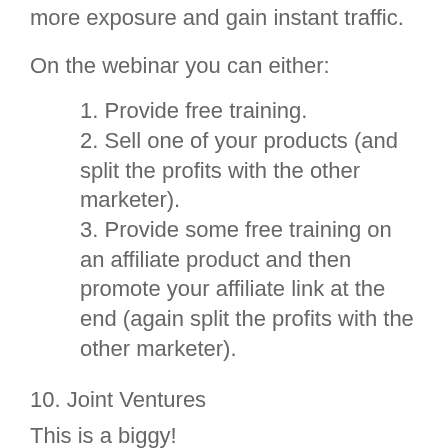more exposure and gain instant traffic.
On the webinar you can either:
1. Provide free training.
2. Sell one of your products (and split the profits with the other marketer).
3. Provide some free training on an affiliate product and then promote your affiliate link at the end (again split the profits with the other marketer).
10. Joint Ventures
This is a biggy!
You create a product and approach other marketers to promote it to their lists. The trick is: